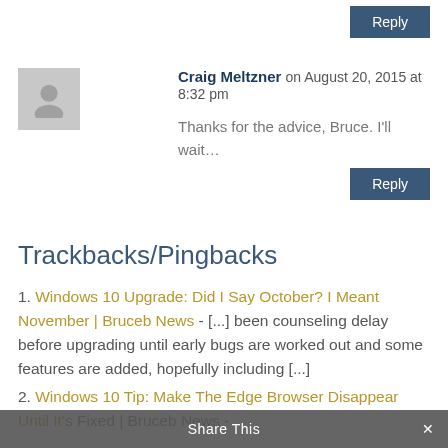Reply
Craig Meltzner on August 20, 2015 at 8:32 pm
Thanks for the advice, Bruce. I'll wait…
Reply
Trackbacks/Pingbacks
1. Windows 10 Upgrade: Did I Say October? I Meant November | Bruceb News - [...] been counseling delay before upgrading until early bugs are worked out and some features are added, hopefully including [...]
2. Windows 10 Tip: Make The Edge Browser Disappear Until It's Fixed | Bruceb News - [...]
Share This